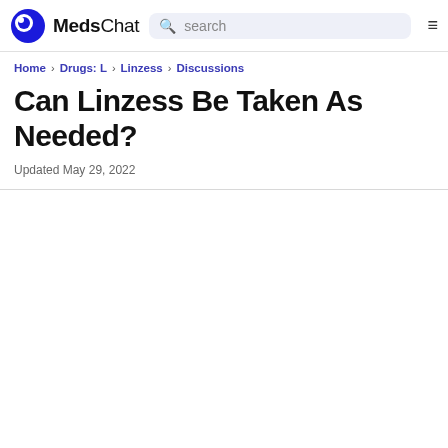MedsChat — search bar and navigation
Home › Drugs: L › Linzess › Discussions
Can Linzess Be Taken As Needed?
Updated May 29, 2022